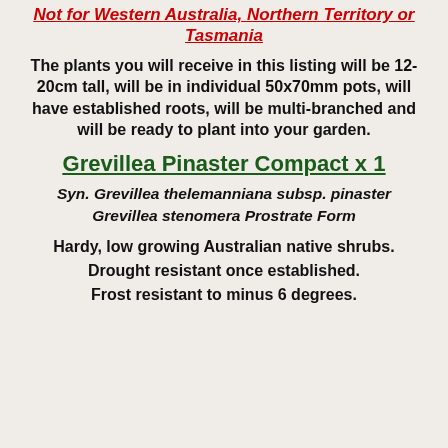Not for Western Australia, Northern Territory or Tasmania
The plants you will receive in this listing will be 12-20cm tall, will be in individual 50x70mm pots, will have established roots, will be multi-branched and will be ready to plant into your garden.
Grevillea Pinaster Compact x 1
Syn. Grevillea thelemanniana subsp. pinaster
Grevillea stenomera Prostrate Form
Hardy, low growing Australian native shrubs.
Drought resistant once established.
Frost resistant to minus 6 degrees.